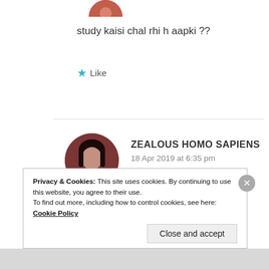[Figure (photo): Small circular avatar image at the top, partially cropped]
study kaisi chal rhi h aapki ??
★ Like
[Figure (photo): Circular profile avatar of Zealous Homo Sapiens, dark reddish-brown tones, person with dark hair]
ZEALOUS HOMO SAPIENS
18 Apr 2019 at 6:35 pm
Abhi chutti chal rahi hai.
Privacy & Cookies: This site uses cookies. By continuing to use this website, you agree to their use.
To find out more, including how to control cookies, see here: Cookie Policy
Close and accept